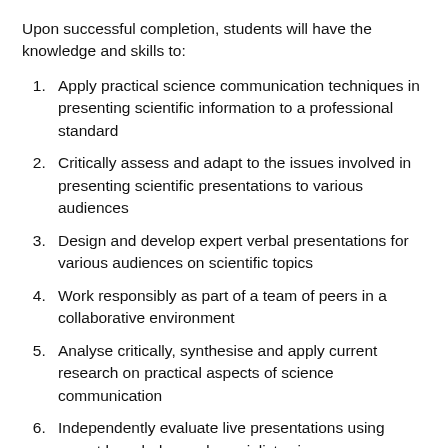Upon successful completion, students will have the knowledge and skills to:
Apply practical science communication techniques in presenting scientific information to a professional standard
Critically assess and adapt to the issues involved in presenting scientific presentations to various audiences
Design and develop expert verbal presentations for various audiences on scientific topics
Work responsibly as part of a team of peers in a collaborative environment
Analyse critically, synthesise and apply current research on practical aspects of science communication
Independently evaluate live presentations using expert knowledge and specialist science communication